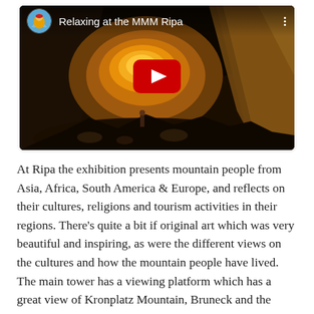[Figure (screenshot): Embedded YouTube video thumbnail showing a dark underground cave/tunnel scene illuminated with warm orange/yellow light. The video header shows a circular avatar of a person in a yellow jacket with a red hat, the title 'Relaxing at the MMM Ripa', and a three-dot menu icon. A red YouTube play button is centered on the thumbnail.]
At Ripa the exhibition presents mountain people from Asia, Africa, South America & Europe, and reflects on their cultures, religions and tourism activities in their regions. There's quite a bit if original art which was very beautiful and inspiring, as were the different views on the cultures and how the mountain people have lived. The main tower has a viewing platform which has a great view of Kronplatz Mountain, Bruneck and the valley.